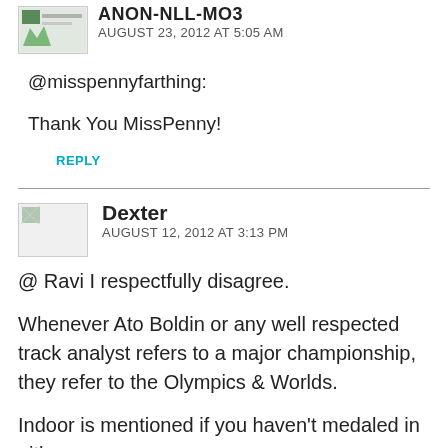ANON-NLL-MO3
AUGUST 23, 2012 AT 5:05 AM
@misspennyfarthing:
Thank You MissPenny!
REPLY
Dexter
AUGUST 12, 2012 AT 3:13 PM
@ Ravi I respectfully disagree.
Whenever Ato Boldin or any well respected track analyst refers to a major championship, they refer to the Olympics & Worlds.
Indoor is mentioned if you haven't medaled in either.
Furthermore, not everyone